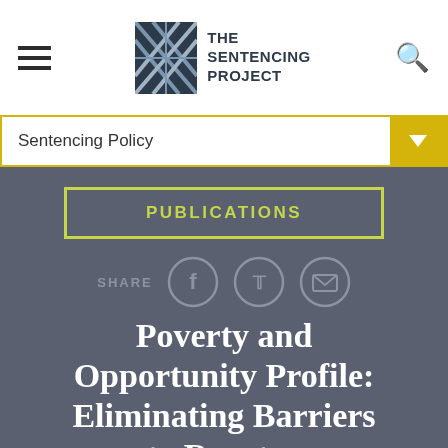THE SENTENCING PROJECT
Sentencing Policy
PUBLICATIONS
SHARE
Poverty and Opportunity Profile: Eliminating Barriers to Reentry